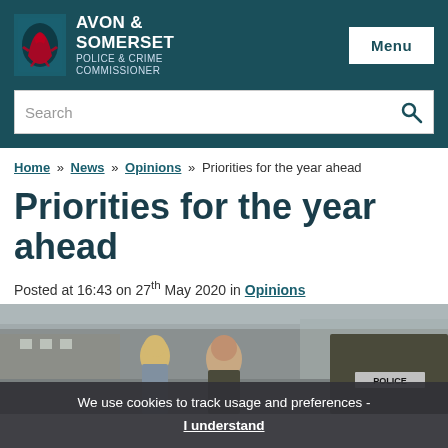AVON & SOMERSET POLICE & CRIME COMMISSIONER
Search
Home » News » Opinions » Priorities for the year ahead
Priorities for the year ahead
Posted at 16:43 on 27th May 2020 in Opinions
[Figure (photo): Outdoor scene showing people including a person in police uniform with POLICE label visible on back, and two other individuals in conversation on a street.]
We use cookies to track usage and preferences - I understand